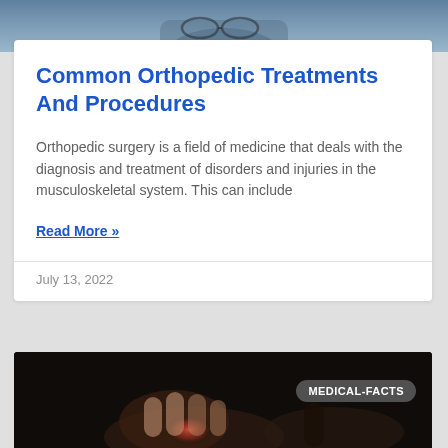[Figure (photo): Top portion of a photo showing a person with glasses, partially visible, grey/blue toned background]
Common Orthopedic Treatments And Procedures
Orthopedic surgery is a field of medicine that deals with the diagnosis and treatment of disorders and injuries in the musculoskeletal system. This can include
Read More »
July 13, 2022
[Figure (photo): Dark background photo showing hands with apparent joint pain/redness, with a MEDICAL-FACTS badge overlay]